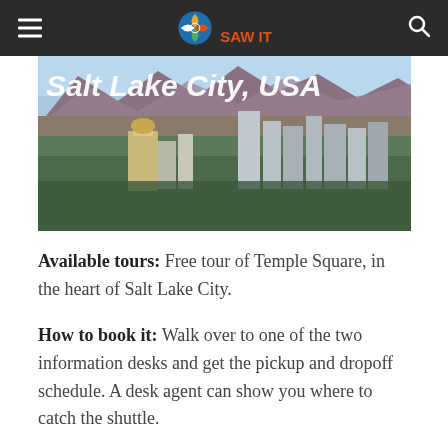AS WE SAW IT
[Figure (photo): Aerial/skyline view of Salt Lake City, USA with mountains in background]
Available tours: Free tour of Temple Square, in the heart of Salt Lake City.
How to book it: Walk over to one of the two information desks and get the pickup and dropoff schedule. A desk agent can show you where to catch the shuttle.